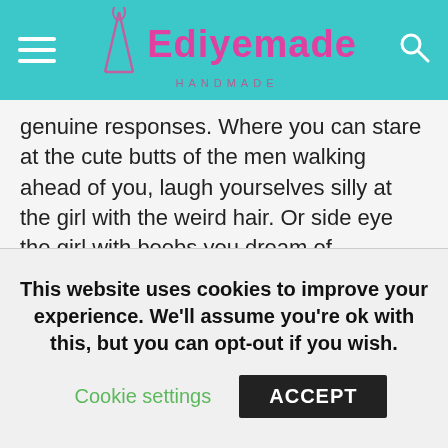Ediyemade Handmade
genuine responses. Where you can stare at the cute butts of the men walking ahead of you, laugh yourselves silly at the girl with the weird hair. Or side eye the girl with boobs you dream of.
Not a world problem but it makes life way easier to handle.
I read this post on friendship and I think you should too. The blogger quoted an author. C.L. Lewis I think it was who said that friendship, like philosophy and art is unnecessary. It has no
This website uses cookies to improve your experience. We'll assume you're ok with this, but you can opt-out if you wish.
Cookie settings   ACCEPT